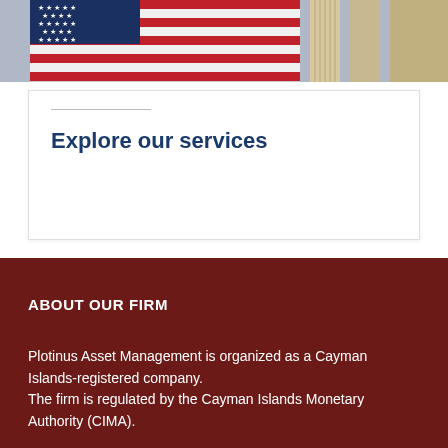[Figure (photo): American flag with stars and stripes, with a classical building column in the background]
Explore our services
ABOUT OUR FIRM
Plotinus Asset Management is organized as a Cayman Islands-registered company. The firm is regulated by the Cayman Islands Monetary Authority (CIMA).